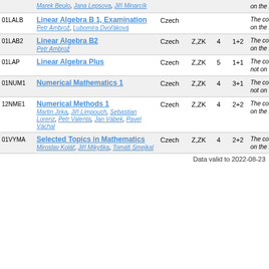| Code | Course / Instructors | Language | Completion | Credits | H/W | Note |
| --- | --- | --- | --- | --- | --- | --- |
|  | Marek Beulo, Jana Lepsova, Jiri Minarcik |  |  |  |  | on the list |
| 01LALB | Linear Algebra B 1, Examination
Petr Ambroz, Lubomira Dvorakova | Czech |  |  |  | The course is on the list |
| 01LAB2 | Linear Algebra B2
Petr Ambroz | Czech | Z,ZK | 4 | 1+2 | The course is on the list |
| 01LAP | Linear Algebra Plus | Czech | Z,ZK | 5 | 1+1 | The course is not on the list |
| 01NUM1 | Numerical Mathematics 1 | Czech | Z,ZK | 4 | 3+1 | The course is not on the list |
| 12NME1 | Numerical Methods 1
Martin Jirka, Jiri Limpouch, Sebastian Lorenz, Petr Valenta, Jan Vabek, Pavel Vachal | Czech | Z,ZK | 4 | 2+2 | The course is on the list |
| 01VYMA | Selected Topics in Mathematics
Miroslav Kolar, Jiri Mikyska, Tomas Smejkal | Czech | Z,ZK | 4 | 2+2 | The course is on the list |
Data valid to 2022-08-23